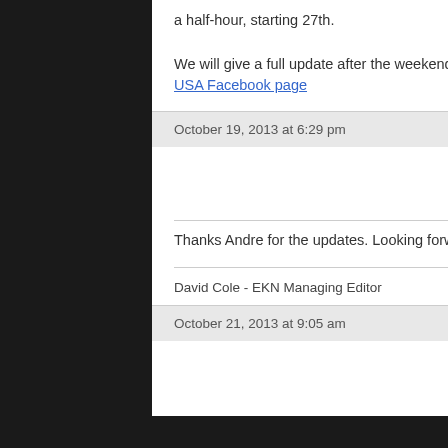a half-hour, starting 27th.

We will give a full update after the weekend, but for now, you can follow all the action from the Rok Cup USA Facebook page
October 19, 2013 at 6:29 pm
#13192
David Cole
Keymaster
Thanks Andre for the updates. Looking forward to hearing and seeing the final results.
David Cole - EKN Managing Editor
October 21, 2013 at 9:05 am
#13275
Mike Myers
Participant